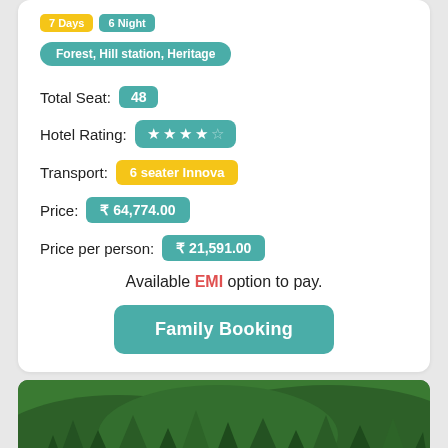7 Days | 6 Night
Forest, Hill station, Heritage
Total Seat: 48
Hotel Rating: ★★★★☆
Transport: 6 seater Innova
Price: ₹ 64,774.00
Price per person: ₹ 21,591.00
Available EMI option to pay.
Family Booking
[Figure (photo): Forest and hill station landscape with dense green trees]